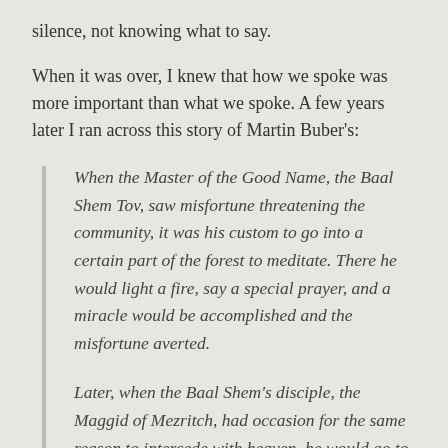silence, not knowing what to say.
When it was over, I knew that how we spoke was more important than what we spoke. A few years later I ran across this story of Martin Buber's:
When the Master of the Good Name, the Baal Shem Tov, saw misfortune threatening the community, it was his custom to go into a certain part of the forest to meditate. There he would light a fire, say a special prayer, and a miracle would be accomplished and the misfortune averted.
Later, when the Baal Shem's disciple, the Maggid of Mezritch, had occasion for the same reason to intercede with heaven, he would go to the same place in the forest and say, "Master of the Universe, listen! I do not know how to light